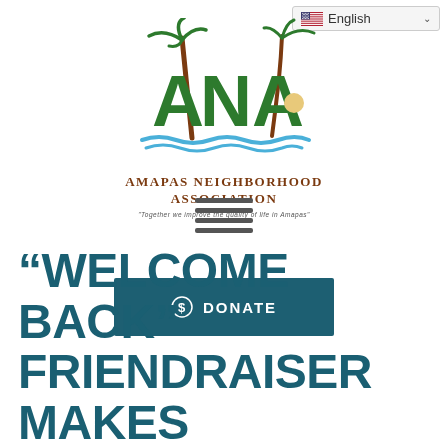[Figure (screenshot): Language selector UI element showing US flag and 'English' text with dropdown chevron]
[Figure (logo): Amapas Neighborhood Association logo with stylized ANA letters and palm trees, with organization name and tagline]
[Figure (other): Hamburger menu icon with four horizontal lines]
[Figure (other): Teal donate button with dollar/coin icon and DONATE text]
“WELCOME BACK” FRIENDRAISER MAKES